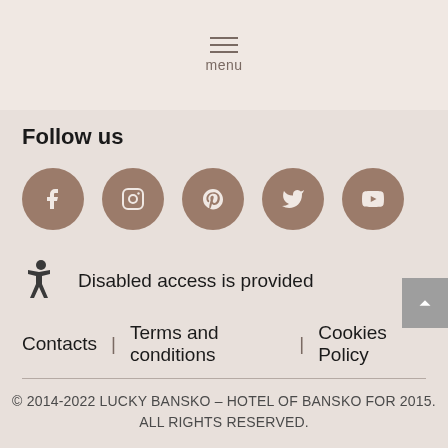menu
Follow us
[Figure (illustration): Five social media icons in brown circles: Facebook, Instagram, Pinterest, Twitter, YouTube]
Disabled access is provided
Contacts | Terms and conditions | Cookies Policy
© 2014-2022 LUCKY BANSKO – HOTEL OF BANSKO FOR 2015. ALL RIGHTS RESERVED.